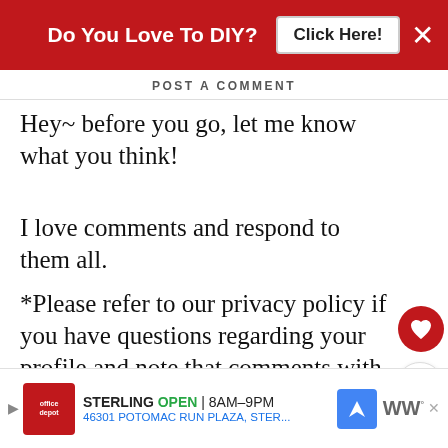Do You Love To DIY? Click Here!
POST A COMMENT
Hey~ before you go, let me know what you think!
I love comments and respond to them all.
*Please refer to our privacy policy if you have questions regarding your profile and note that comments with links will not be published.
[Figure (photo): Bathroom shelf/mirror area with wooden cabinet and lights, red wall background]
WHAT'S NEXT → The Secret To Southern...
STERLING OPEN | 8AM-9PM 46301 POTOMAC RUN PLAZA, STER...